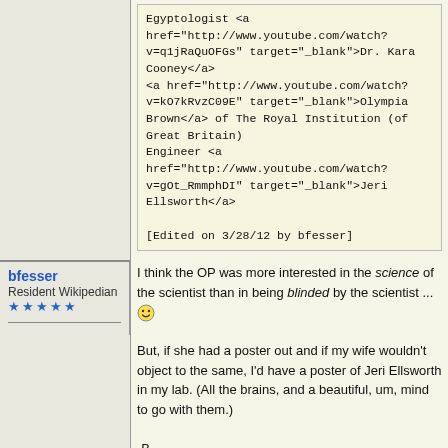Egyptologist <a href="http://www.youtube.com/watch?v=q1jRaQuOFGs" target="_blank">Dr. Kara Cooney</a>
<a href="http://www.youtube.com/watch?v=kO7kRvzC09E" target="_blank">Olympia Brown</a> of The Royal Institution (of Great Britain)
Engineer <a href="http://www.youtube.com/watch?v=gOt_RmmphDI" target="_blank">Jeri Ellsworth</a>

[Edited on 3/28/12 by bfesser]
I think the OP was more interested in the science of the scientist than in being blinded by the scientist ...

But, if she had a poster out and if my wife wouldn't object to the same, I'd have a poster of Jeri Ellsworth in my lab. (All the brains, and a beautiful, um, mind to go with them.)

-B
bfesser
Resident Wikipedian
★★★★★
posted on 27-3-2012 at 20:19
Gearhead, Shem, Tau. I'm aware of the OP's intentions...